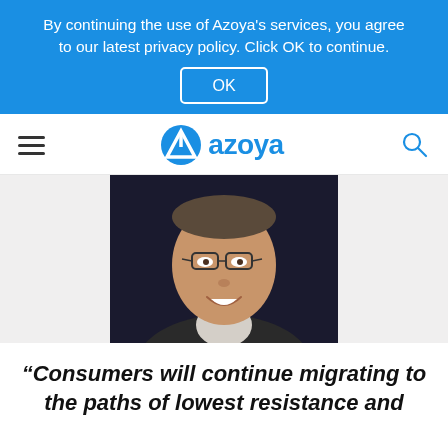By continuing the use of Azoya's services, you agree to our latest privacy policy. Click OK to continue.
OK
[Figure (logo): Azoya logo with blue triangle/arrow icon and 'azoya' text in blue, with hamburger menu on left and search icon on right]
[Figure (photo): Headshot of a middle-aged man with glasses, smiling, wearing a dark jacket, against a dark background]
“Consumers will continue migrating to the paths of lowest resistance and